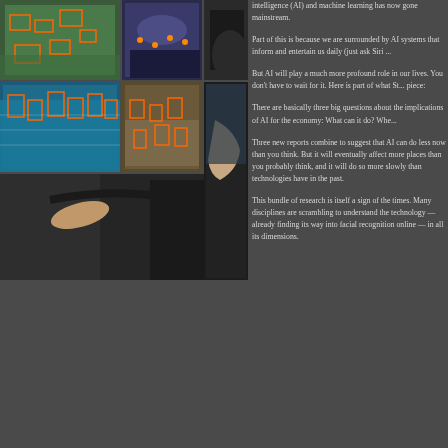[Figure (photo): Photo collage showing AI/computer vision applications: multiple panels with people, sports scenes with tracking overlays, a person pointing at a display screen showing object detection.]
intelligence (AI) and machine learning has now gone mainstream.
Part of this is because we are surrounded by AI systems that inform and entertain us daily (just ask Siri ...
But AI will play a much more profound role in our lives. You don't have to wait for it. Here is part of what St... piece:
There are basically three big questions about the implications of AI for the economy: What can it do? Whe...
Three new reports combine to suggest that AI can do less now than you think. But it will eventually affect more places than you probably think, and it will do so more slowly than technologies have in the past.
This bundle of research is itself a sign of the times. Many disciplines are scrambling to understand the technology — already finding its way into facial recognition online — in all its dimensions.